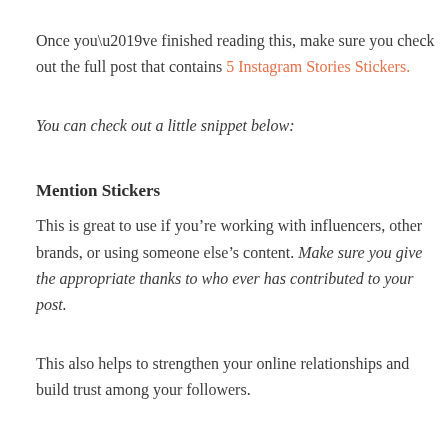Once you’ve finished reading this, make sure you check out the full post that contains 5 Instagram Stories Stickers.
You can check out a little snippet below:
Mention Stickers
This is great to use if you’re working with influencers, other brands, or using someone else’s content. Make sure you give the appropriate thanks to who ever has contributed to your post.
This also helps to strengthen your online relationships and build trust among your followers.